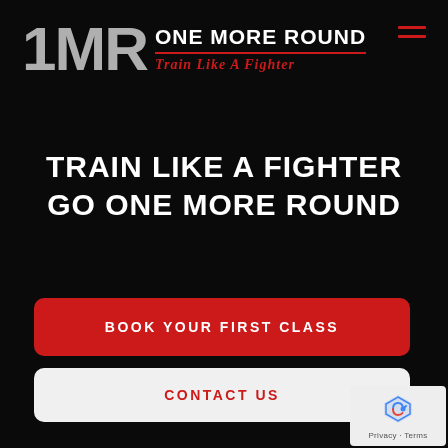[Figure (logo): 1MR One More Round logo with large grey '1MR' text and red 'Train Like a Fighter' tagline]
TRAIN LIKE A FIGHTER
GO ONE MORE ROUND
BOOK YOUR FIRST CLASS
CONTACT US
[Figure (logo): Google reCAPTCHA badge with shield icon and Privacy Terms links]